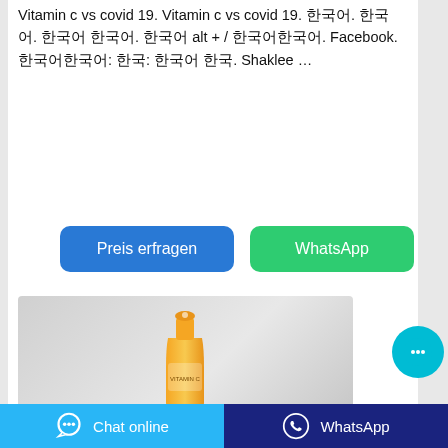Vitamin c vs covid 19. Vitamin c vs covid 19. 한국어. 한국어. 한국어 한국어. 한국어 alt + / 한국어한국어. Facebook. 한국어한국어: 한국: 한국어 한국. Shaklee …
[Figure (screenshot): Two call-to-action buttons: blue 'Preis erfragen' and green 'WhatsApp']
[Figure (photo): A yellow product bottle/package shown against a light grey background]
[Figure (infographic): Cyan circular chat bubble button with ellipsis icon]
Chat online
WhatsApp